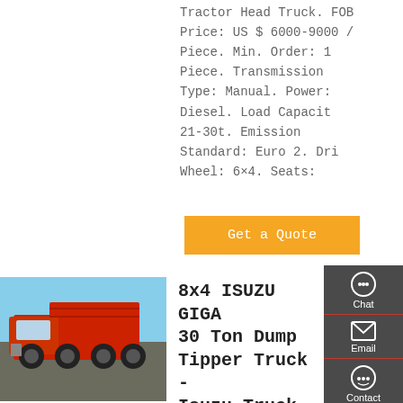Tractor Head Truck. FOB Price: US $ 6000-9000 / Piece. Min. Order: 1 Piece. Transmission Type: Manual. Power: Diesel. Load Capacity: 21-30t. Emission Standard: Euro 2. Drive Wheel: 6×4. Seats: S
[Figure (other): Orange 'Get a Quote' button]
[Figure (photo): Red 8x4 dump tipper truck parked in a lot, blue sky background]
[Figure (other): Dark grey sidebar with Chat, Email, Contact, and Top navigation icons]
8x4 ISUZU GIGA 30 Ton Dump Tipper Truck - Isuzu Truck